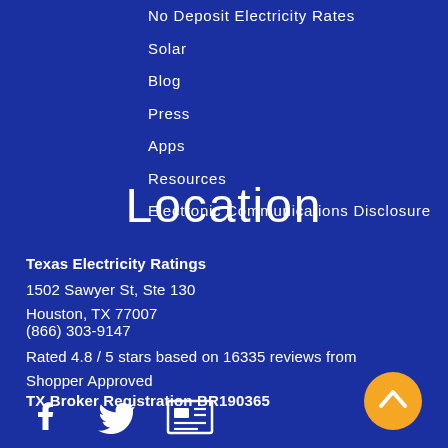No Deposit Electricity Rates
Solar
Blog
Press
Apps
Resources
Electronic Communications Disclosure
Location
Texas Electricity Ratings
1502 Sawyer St, Ste 130
Houston, TX 77007
(866) 303-9147
Rated 4.8 / 5 stars based on 16335 reviews from Shopper Approved
TX Broker Registration BR190365
[Figure (infographic): Social media icons: Facebook, Twitter, and a news/newsletter icon on dark blue background, plus a yellow circular back-to-top button with upward chevron]